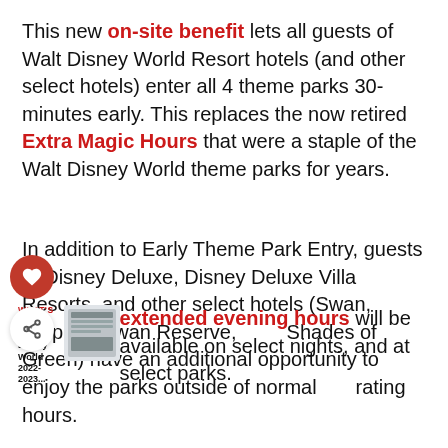This new on-site benefit lets all guests of Walt Disney World Resort hotels (and other select hotels) enter all 4 theme parks 30-minutes early. This replaces the now retired Extra Magic Hours that were a staple of the Walt Disney World theme parks for years.
In addition to Early Theme Park Entry, guests of Disney Deluxe, Disney Deluxe Villa Resorts, and other select hotels (Swan, Dolphin, Swan Reserve, and Shades of Green) have an additional opportunity to enjoy the parks outside of normal operating hours.
[Figure (other): Heart/favorite button (red circle with white heart icon) and share button (white circle with share icon), overlaid on text]
WHAT'S NEXT → Disney World 2022-2023... [book cover image] Extended evening hours will be available on select nights, and at select parks.